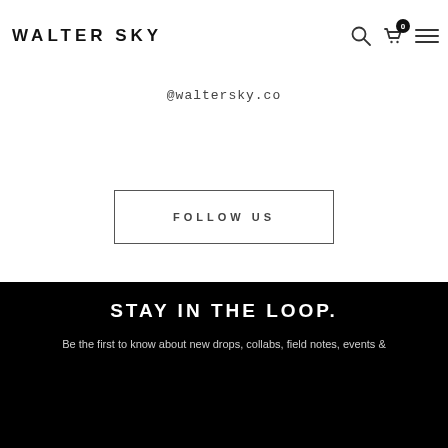WALTER SKY
@waltersky.co
FOLLOW US
STAY IN THE LOOP.
Be the first to know about new drops, collabs, field notes, events &